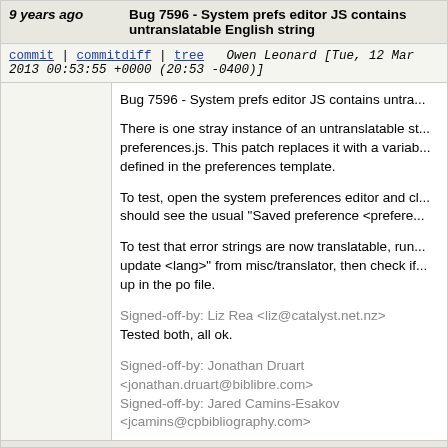9 years ago   Bug 7596 - System prefs editor JS contains untranslatable English string
commit | commitdiff | tree   Owen Leonard [Tue, 12 Mar 2013 00:53:55 +0000 (20:53 -0400)]
Bug 7596 - System prefs editor JS contains untranslatable string

There is one stray instance of an untranslatable string in preferences.js. This patch replaces it with a variable defined in the preferences template.

To test, open the system preferences editor and click... should see the usual "Saved preference <preference...

To test that error strings are now translatable, run... update <lang>" from misc/translator, then check if... up in the po file.

Signed-off-by: Liz Rea <liz@catalyst.net.nz>
Tested both, all ok.

Signed-off-by: Jonathan Druart <jonathan.druart@biblibre.com>
Signed-off-by: Jared Camins-Esakov <jcamins@cpbibliography.com>
9 years ago   Merge branch 'bug_4266' into 3.12-master